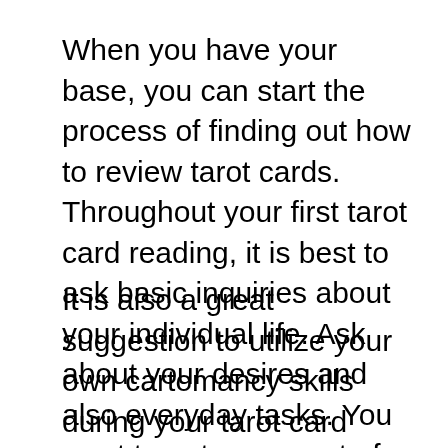When you have your base, you can start the process of finding out how to review tarot cards. Throughout your first tarot card reading, it is best to ask basic inquiries about your individual life. Ask about your desires and also everyday tasks. You want to get a concept of what your individual tarot card reading meaning is.
It is also a great suggestion to utilize your own cartomancy skills during your tarot card analysis. When you take a look at the cards, you can begin to assemble a photo in your mind's eye. This can be done by drawing a basic design of on your own or your setting. From there you can begin to sketch in your ideas, what the cards could symbolize. If you